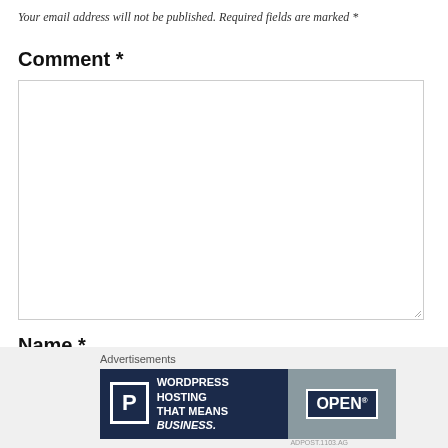Your email address will not be published. Required fields are marked *
Comment *
[Figure (other): Large comment textarea input box with resize handle in bottom-right corner]
Name *
[Figure (other): Single-line name text input box]
[Figure (other): Close/dismiss button (X circle icon)]
Advertisements
[Figure (other): WordPress Hosting advertisement banner: 'WORDPRESS HOSTING THAT MEANS BUSINESS.' with P icon on left and OPEN sign photo on right]